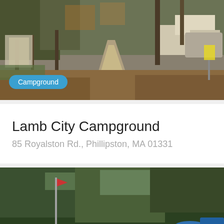[Figure (photo): Campground road through trees with RVs parked on right side, autumn leaves on ground]
Lamb City Campground
85 Royalston Rd., Phillipston, MA 01331
[Figure (photo): Outdoor pool area at campground with people, umbrellas, trees in background, blue sky]